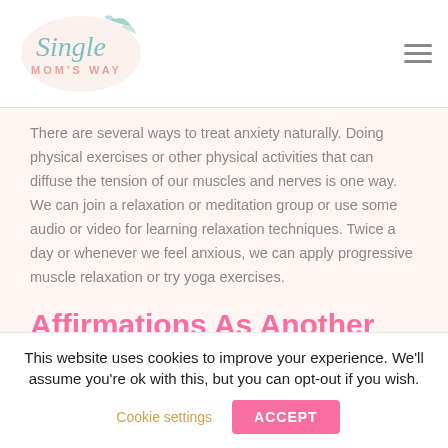Single MOM'S WAY
There are several ways to treat anxiety naturally. Doing physical exercises or other physical activities that can diffuse the tension of our muscles and nerves is one way. We can join a relaxation or meditation group or use some audio or video for learning relaxation techniques. Twice a day or whenever we feel anxious, we can apply progressive muscle relaxation or try yoga exercises.
Affirmations As Another
This website uses cookies to improve your experience. We'll assume you're ok with this, but you can opt-out if you wish.
Cookie settings   ACCEPT